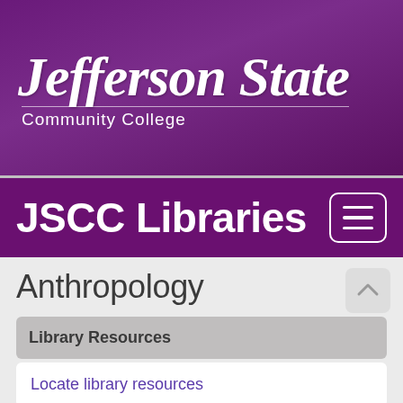[Figure (logo): Jefferson State Community College logo — white script text on purple gradient background]
JSCC Libraries
Anthropology
Library Resources
Locate library resources
Recommended resources
Electronic Books in Anthropology
Additional resources